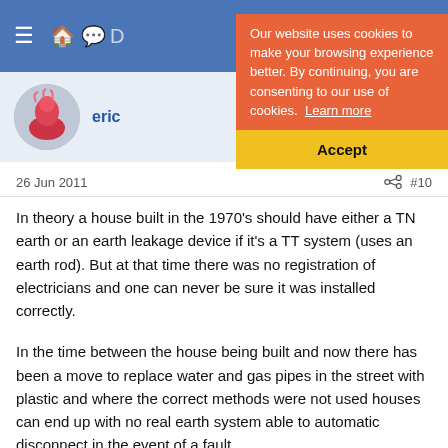[Figure (screenshot): Blue navigation bar with hamburger menu and icons]
[Figure (screenshot): Cookie consent banner with orange top section and yellow Accept button, overlapping the navigation and user row]
ericb
26 Jun 2011
#10
In theory a house built in the 1970's should have either a TN earth or an earth leakage device if it's a TT system (uses an earth rod). But at that time there was no registration of electricians and one can never be sure it was installed correctly.
In the time between the house being built and now there has been a move to replace water and gas pipes in the street with plastic and where the correct methods were not used houses can end up with no real earth system able to automatic disconnect in the event of a fault.
As already said you will likely have at least two faults. You need an electrician to sort it out but using a plug in RCD like this one